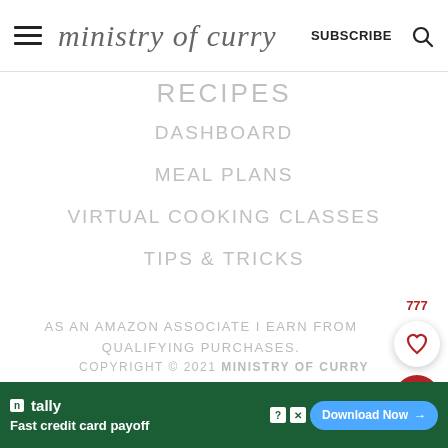ministry of curry  SUBSCRIBE
DASHBOARD
MEAL PLANS
VIRTUAL COOKING CLASSES
TIPS & TRICKS
AS AN AMAZON ASSOCIATE I EARN FROM QUALIFYING PURCHASES.
COPYRIGHT © 2021 MINISTRY OF CURRY
[Figure (screenshot): Tally advertisement banner: Fast credit card payoff. Download Now button.]